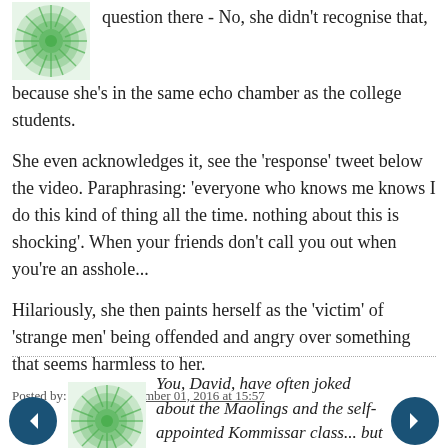question there - No, she didn't recognise that, because she's in the same echo chamber as the college students.
She even acknowledges it, see the 'response' tweet below the video. Paraphrasing: 'everyone who knows me knows I do this kind of thing all the time. nothing about this is shocking'. When your friends don't call you out when you're an asshole...
Hilariously, she then paints herself as the 'victim' of 'strange men' being offended and angry over something that seems harmless to her.
Posted by: NielsR | September 01, 2016 at 15:57
You, David, have often joked about the Maolings and the self-appointed Kommissar class... but it's quite something to actually see the Creature in this video